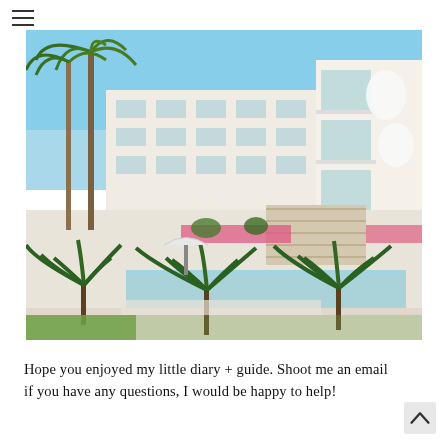☰
[Figure (photo): Outdoor photo of a modern white Mediterranean hotel or resort building with multiple floors and balconies. Palm trees and tropical plants in the foreground, a swimming pool area visible, flowering plants along the building, bright blue sky.]
Hope you enjoyed my little diary + guide. Shoot me an email if you have any questions, I would be happy to help!